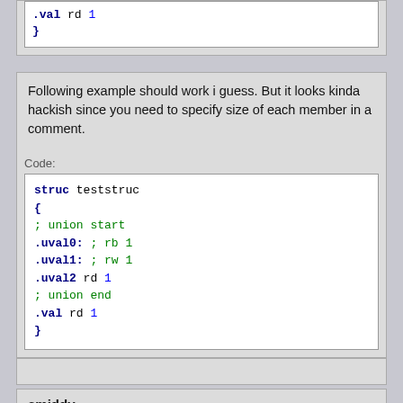[Figure (screenshot): Code snippet showing '.val rd 1' and closing brace '}']
Following example should work i guess. But it looks kinda hackish since you need to specify size of each member in a comment.
Code:
[Figure (screenshot): Code block showing: struc teststruc { ; union start .uval0: ; rb 1 .uval1: ; rw 1 .uval2 rd 1 ; union end .val rd 1 }]
smiddy
I recommend reading paragraph 2.3.4 Structures here. It doesn't specify unions as such, but it will get you pretty close to what you're after. I requires relearning how they are done with FASM.